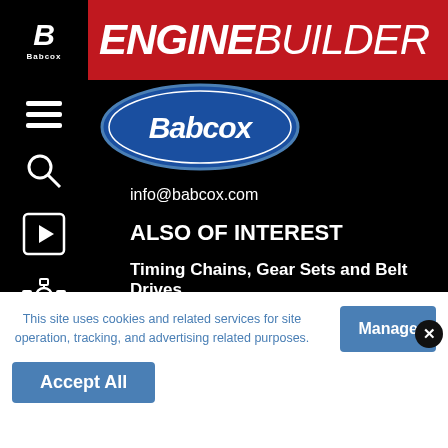ENGINE BUILDER — Babcox
[Figure (logo): Babcox blue oval logo with white italic Babcox text]
info@babcox.com
ALSO OF INTEREST
Timing Chains, Gear Sets and Belt Drives
All About Timing Chains
Ford Timing Chains and Belts
This site uses cookies and related services for site operation, tracking, and advertising related purposes.
Manage
Accept All